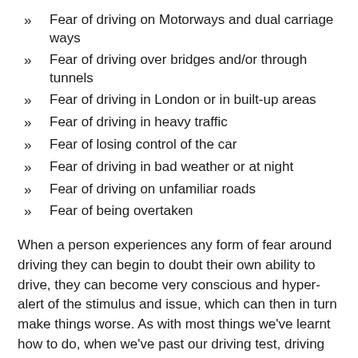Fear of driving on Motorways and dual carriage ways
Fear of driving over bridges and/or through tunnels
Fear of driving in London or in built-up areas
Fear of driving in heavy traffic
Fear of losing control of the car
Fear of driving in bad weather or at night
Fear of driving on unfamiliar roads
Fear of being overtaken
When a person experiences any form of fear around driving they can begin to doubt their own ability to drive, they can become very conscious and hyper-alert of the stimulus and issue, which can then in turn make things worse. As with most things we’ve learnt how to do, when we’ve past our driving test, driving becomes an unconscious process in that we just do it.